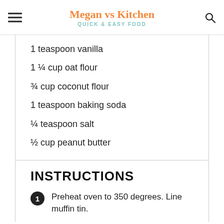Megan vs Kitchen — QUICK & EASY FOOD
1 teaspoon vanilla
1 ¼ cup oat flour
¾ cup coconut flour
1 teaspoon baking soda
¼ teaspoon salt
½ cup peanut butter
INSTRUCTIONS
1 Preheat oven to 350 degrees. Line muffin tin.